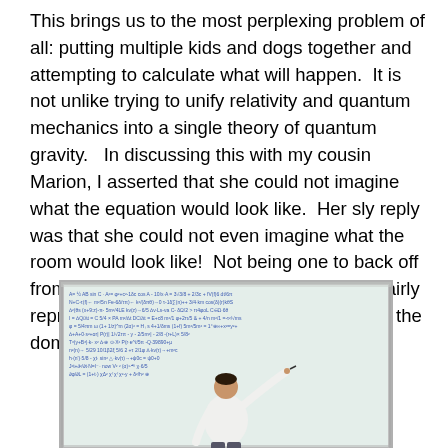This brings us to the most perplexing problem of all: putting multiple kids and dogs together and attempting to calculate what will happen.  It is not unlike trying to unify relativity and quantum mechanics into a single theory of quantum gravity.   In discussing this with my cousin Marion, I asserted that she could not imagine what the equation would look like.  Her sly reply was that she could not even imagine what the room would look like!  Not being one to back off from a challenge, I found this image which fairly represents what both the resulting math and the domicile will look like.
[Figure (photo): A person standing at a large whiteboard covered in complex mathematical equations and formulas, writing on the board with their back to the viewer.]